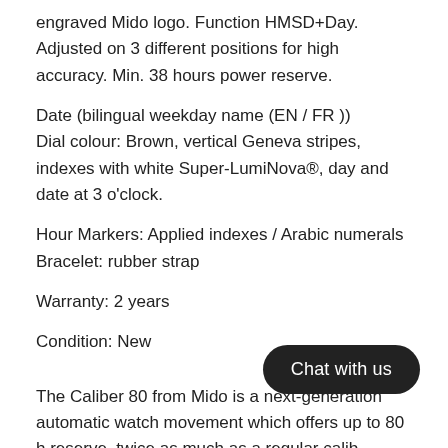engraved Mido logo. Function HMSD+Day. Adjusted on 3 different positions for high accuracy. Min. 38 hours power reserve.
Date (bilingual weekday name (EN / FR ))
Dial colour: Brown, vertical Geneva stripes, indexes with white Super-LumiNova®, day and date at 3 o'clock.
Hour Markers: Applied indexes / Arabic numerals
Bracelet: rubber strap
Warranty: 2 years
Condition: New
The Caliber 80 from Mido is a next-generation automatic watch movement which offers up to 80 h reserve, twice as much as a regular calib available as a chronometer that has been officially certified